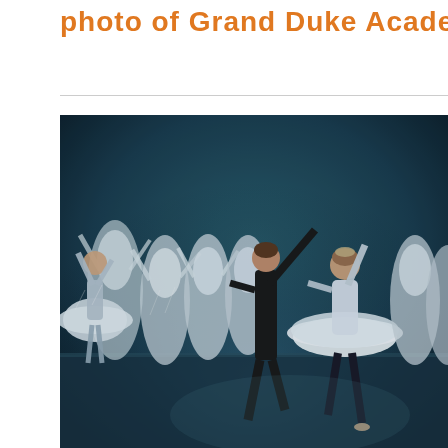photo of Grand Duke Academy
[Figure (photo): Ballet performance on stage. Multiple ballerinas in white tutus with feathered headdresses posed in a line. A male dancer in a black costume holds his arm raised, partnering a female dancer in a white tutu at center. The stage lighting is dark blue-teal, evoking a Swan Lake scene.]